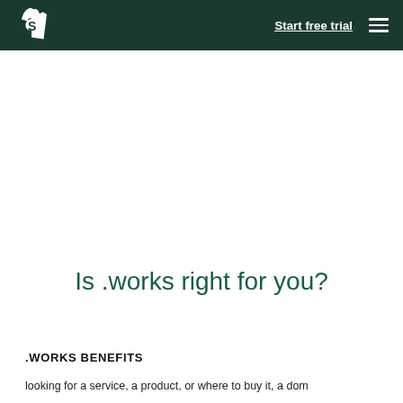Start free trial
Is .works right for you?
.WORKS BENEFITS
looking for a service, a product, or where to buy it, a dom…